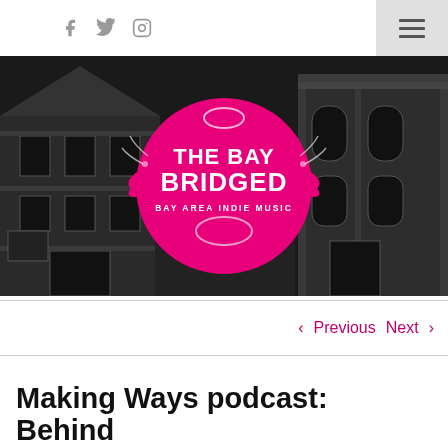Social icons: Facebook, Twitter, Instagram | Hamburger menu
[Figure (illustration): The Bay Bridged – Bay Area Indie Music logo (pink circle with stylized winged heart and text) overlaid on a grayscale illustration of Victorian San Francisco rowhouses/buildings]
‹ Previous   Next ›
Making Ways podcast: Behind